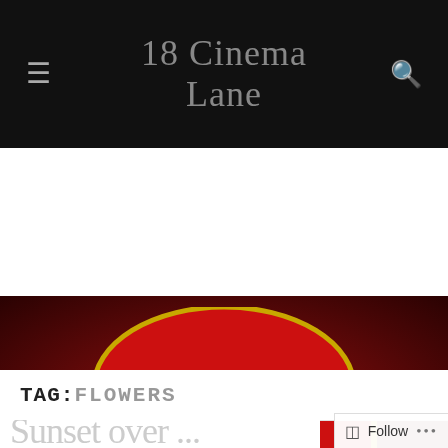18 Cinema Lane
[Figure (logo): 18 Cinema Lane street sign logo on dark red background. Red rounded rectangle sign with gold border reads 'Cinema Lane' in decorative white serif font, with a red dome above showing the number '18'.]
TAG: FLOWERS
Sunset Over ...